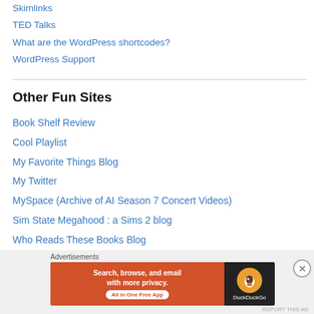Skimlinks
TED Talks
What are the WordPress shortcodes?
WordPress Support
Other Fun Sites
Book Shelf Review
Cool Playlist
My Favorite Things Blog
My Twitter
MySpace (Archive of AI Season 7 Concert Videos)
Sim State Megahood : a Sims 2 blog
Who Reads These Books Blog
YouTube Page for QUEEN
[Figure (screenshot): DuckDuckGo advertisement banner: 'Search, browse, and email with more privacy. All in One Free App' with DuckDuckGo logo on dark background]